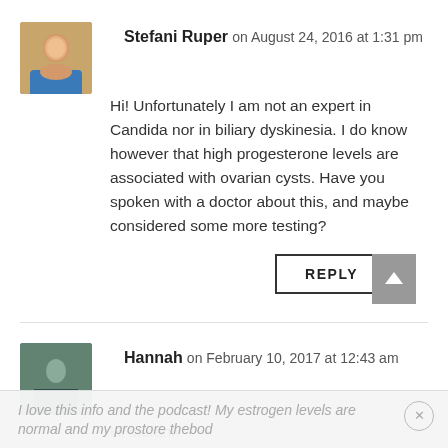Stefani Ruper on August 24, 2016 at 1:31 pm
Hi! Unfortunately I am not an expert in Candida nor in biliary dyskinesia. I do know however that high progesterone levels are associated with ovarian cysts. Have you spoken with a doctor about this, and maybe considered some more testing?
REPLY
Hannah on February 10, 2017 at 12:43 am
Hi stefani!
I love this info and the podcast! My estrogen levels are normal and my prostore thebod